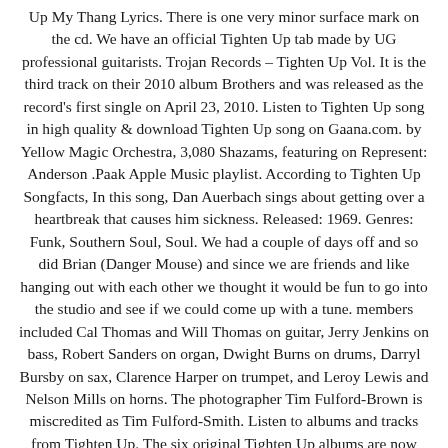Up My Thang Lyrics. There is one very minor surface mark on the cd. We have an official Tighten Up tab made by UG professional guitarists. Trojan Records – Tighten Up Vol. It is the third track on their 2010 album Brothers and was released as the record's first single on April 23, 2010. Listen to Tighten Up song in high quality & download Tighten Up song on Gaana.com. by Yellow Magic Orchestra, 3,080 Shazams, featuring on Represent: Anderson .Paak Apple Music playlist. According to Tighten Up Songfacts, In this song, Dan Auerbach sings about getting over a heartbreak that causes him sickness. Released: 1969. Genres: Funk, Southern Soul, Soul. We had a couple of days off and so did Brian (Danger Mouse) and since we are friends and like hanging out with each other we thought it would be fun to go into the studio and see if we could come up with a tune. members included Cal Thomas and Will Thomas on guitar, Jerry Jenkins on bass, Robert Sanders on organ, Dwight Burns on drums, Darryl Bursby on sax, Clarence Harper on trumpet, and Leroy Lewis and Nelson Mills on horns. The photographer Tim Fulford-Brown is miscredited as Tim Fulford-Smith. Listen to albums and tracks from Tighten Up. The six original Tighten Up albums are now available as a two-disc, 52-track package. "Tighten Up" is a song by American rock band The Black Keys. Album. Format: Vinyl, LP, Compilation, Mono, Orange Labels. Credited with really selling the English public on reggae, the series featured now-classic work by the Maytals , Delroy Wilson , the Upsetters , Bob Marley & the Wailers , Slim